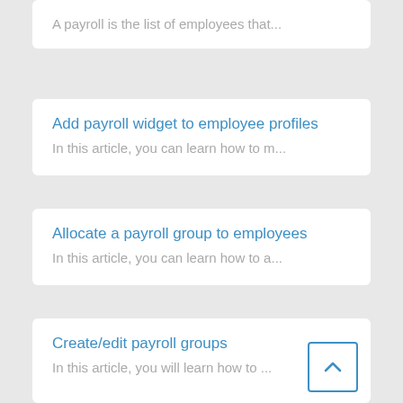A payroll is the list of employees that...
Add payroll widget to employee profiles
In this article, you can learn how to m...
Allocate a payroll group to employees
In this article, you can learn how to a...
Create/edit payroll groups
In this article, you will learn how to ...